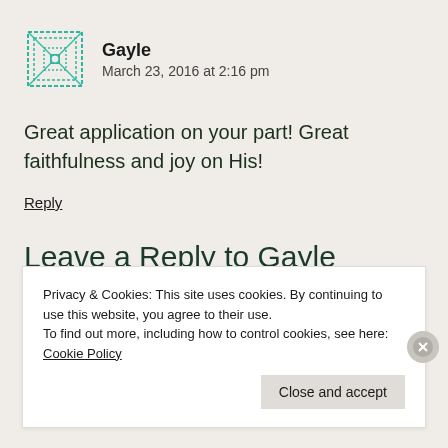[Figure (illustration): Teal geometric avatar icon for user Gayle]
Gayle
March 23, 2016 at 2:16 pm
Great application on your part! Great faithfulness and joy on His!
Reply
Leave a Reply to Gayle   Cancel
Privacy & Cookies: This site uses cookies. By continuing to use this website, you agree to their use.
To find out more, including how to control cookies, see here: Cookie Policy
Close and accept